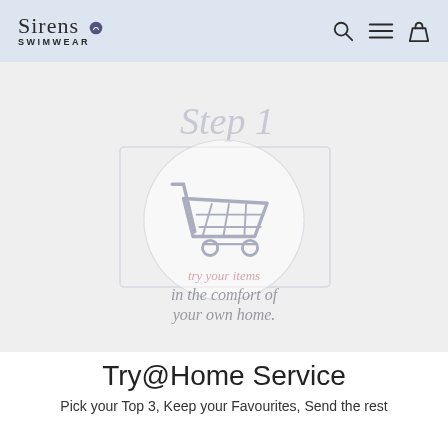Sirens SWIMWEAR
[Figure (illustration): Screenshot of a website page showing Step 1 of a Try@Home service. A large shopping cart icon is centered inside a circular frame on a light grey background. Below the cart, italic text reads 'in the comfort of your own home.' Faded text above reads 'Step 1' in italic. The overall image is faded/watermarked in appearance.]
Try@Home Service
Pick your Top 3, Keep your Favourites, Send the rest